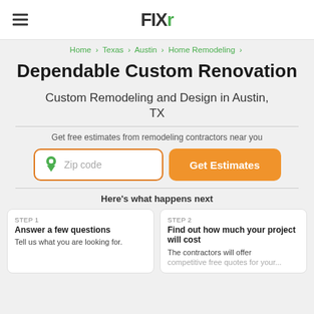FIXr
Home > Texas > Austin > Home Remodeling >
Dependable Custom Renovation
Custom Remodeling and Design in Austin, TX
Get free estimates from remodeling contractors near you
Zip code | Get Estimates
Here's what happens next
STEP 1
Answer a few questions
Tell us what you are looking for.
STEP 2
Find out how much your project will cost
The contractors will offer competitive free quotes for your...